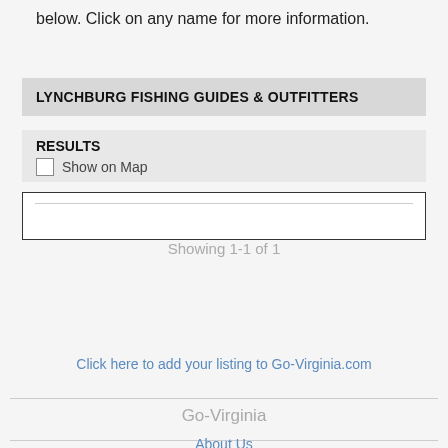below. Click on any name for more information.
LYNCHBURG FISHING GUIDES & OUTFITTERS
RESULTS
Show on Map
Showing 1-1 of 1
Add Your Listing!
Click here to add your listing to Go-Virginia.com
Go-Virginia
About Us